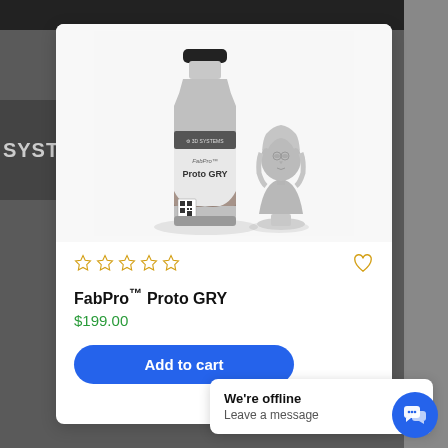[Figure (photo): Product photo of FabPro Proto GRY 3D printing resin bottle by 3D Systems, with a printed grey bust of Benjamin Franklin next to it, on white background]
★★★★★ (empty stars rating)
FabPro™ Proto GRY
$199.00
Add to cart
We're offline
Leave a message